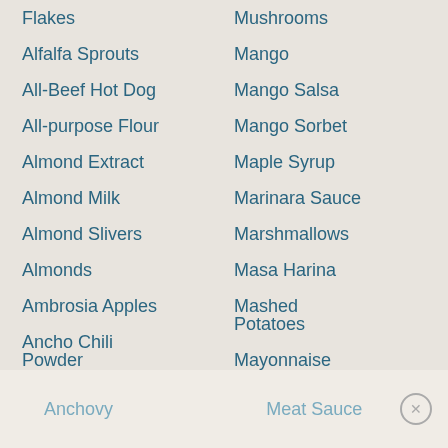Flakes
Mushrooms
Alfalfa Sprouts
Mango
All-Beef Hot Dog
Mango Salsa
All-purpose Flour
Mango Sorbet
Almond Extract
Maple Syrup
Almond Milk
Marinara Sauce
Almond Slivers
Marshmallows
Almonds
Masa Harina
Ambrosia Apples
Mashed Potatoes
Ancho Chili Powder
Mayonnaise
Anchovy
Meat Sauce